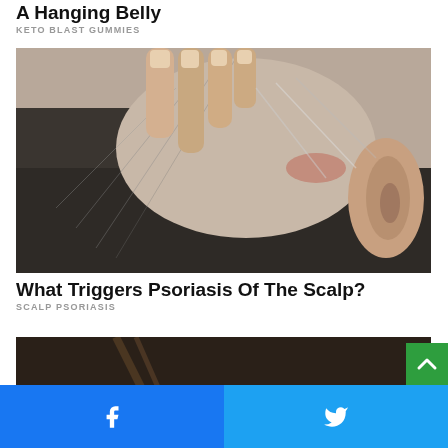A Hanging Belly
KETO BLAST GUMMIES
[Figure (photo): Close-up photo of a person's scalp and ear area, with fingers scratching the scalp, showing irritated skin near the hairline.]
What Triggers Psoriasis Of The Scalp?
SCALP PSORIASIS
[Figure (photo): Partial photo of a person's head from behind, showing dark hair.]
Facebook  Twitter